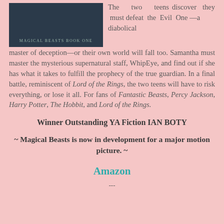[Figure (illustration): Book cover image with dark background showing 'MAGICAL BEASTS BOOK ONE' text]
The two teens discover they must defeat the Evil One—a diabolical master of deception—or their own world will fall too. Samantha must master the mysterious supernatural staff, WhipEye, and find out if she has what it takes to fulfill the prophecy of the true guardian. In a final battle, reminiscent of Lord of the Rings, the two teens will have to risk everything, or lose it all. For fans of Fantastic Beasts, Percy Jackson, Harry Potter, The Hobbit, and Lord of the Rings.
Winner Outstanding YA Fiction IAN BOTY
~ Magical Beasts is now in development for a major motion picture. ~
Amazon
---